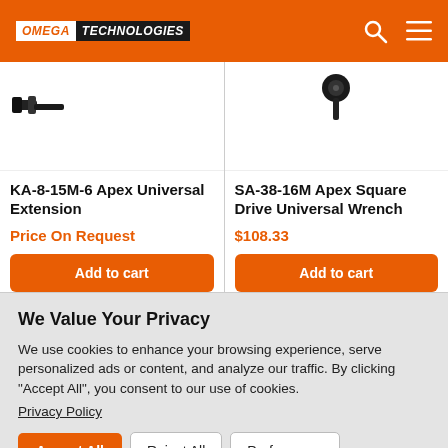OMEGA TECHNOLOGIES
[Figure (photo): Product image area for KA-8-15M-6 Apex Universal Extension - partial tool visible at top]
[Figure (photo): Product image area for SA-38-16M Apex Square Drive Universal Wrench - partial tool visible at top]
KA-8-15M-6 Apex Universal Extension
Price On Request
Add to cart
SA-38-16M Apex Square Drive Universal Wrench
$108.33
Add to cart
We Value Your Privacy
We use cookies to enhance your browsing experience, serve personalized ads or content, and analyze our traffic. By clicking "Accept All", you consent to our use of cookies.
Privacy Policy
Accept All
Reject All
Preferences